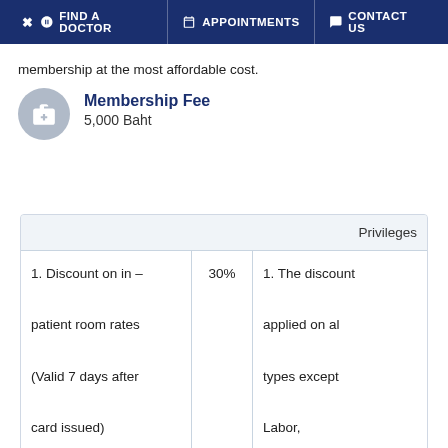FIND A DOCTOR   APPOINTMENTS   CONTACT US
membership at the most affordable cost.
Membership Fee
5,000 Baht
|  |  | Privileges |
| --- | --- | --- |
| 1. Discount on in – patient room rates (Valid 7 days after card issued) | 30% | 1. The discount applied on al types except Labor, Observation, Nursery and |